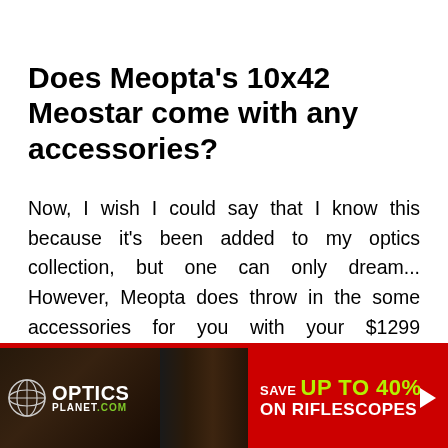Does Meopta's 10x42 Meostar come with any accessories?
Now, I wish I could say that I know this because it's been added to my optics collection, but one can only dream... However, Meopta does throw in the some accessories for you with your $1299 purchase, making it ever
[Figure (other): OpticsPlanet.com advertisement banner: logo with globe icon on dark background, rifle scope image, red panel reading SAVE UP TO 40% ON RIFLESCOPES with green highlighted percentage, and white arrow button]